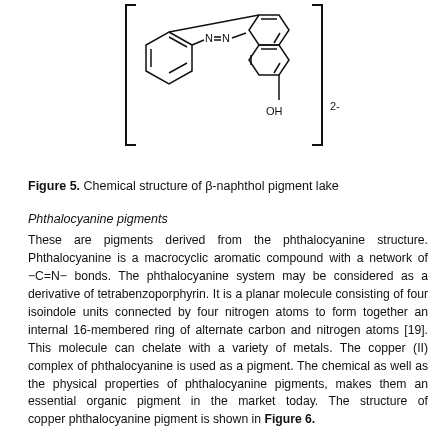[Figure (engineering-diagram): Chemical structure diagram of beta-naphthol pigment lake showing two benzene rings connected via N=N azo linkage, with a naphthol group bearing an OH substituent, enclosed in square brackets with a 2- charge superscript.]
Figure 5. Chemical structure of β-naphthol pigment lake
Phthalocyanine pigments
These are pigments derived from the phthalocyanine structure. Phthalocyanine is a macrocyclic aromatic compound with a network of −C=N− bonds. The phthalocyanine system may be considered as a derivative of tetrabenzoporphyrin. It is a planar molecule consisting of four isoindole units connected by four nitrogen atoms to form together an internal 16-membered ring of alternate carbon and nitrogen atoms [19]. This molecule can chelate with a variety of metals. The copper (II) complex of phthalocyanine is used as a pigment. The chemical as well as the physical properties of phthalocyanine pigments, makes them an essential organic pigment in the market today. The structure of copper phthalocyanine pigment is shown in Figure 6.